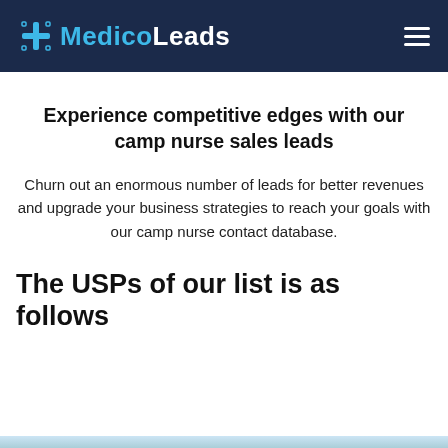MedicoLeads
Experience competitive edges with our camp nurse sales leads
Churn out an enormous number of leads for better revenues and upgrade your business strategies to reach your goals with our camp nurse contact database.
The USPs of our list is as follows